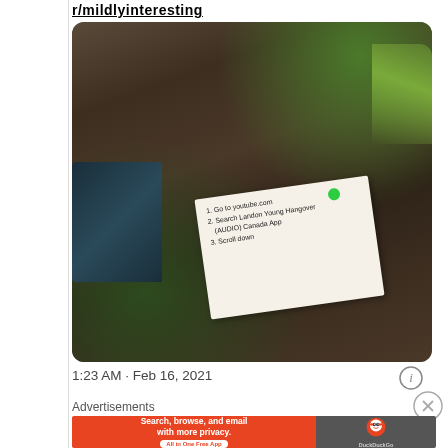r/mildlyinteresting
[Figure (photo): Photo of a large tree trunk with rough bark. A small handwritten note is pinned to the tree with a green thumbtack. The note reads: '1. Go to youtube.com / 2. Search Landon Young Hangover AUDIO Canada App / 3. Scroll down'. A car is partially visible on the left. Moss is visible on the upper right of the tree.]
1:23 AM · Feb 16, 2021
Advertisements
Search, browse, and email with more privacy. All in One Free App DuckDuckGo